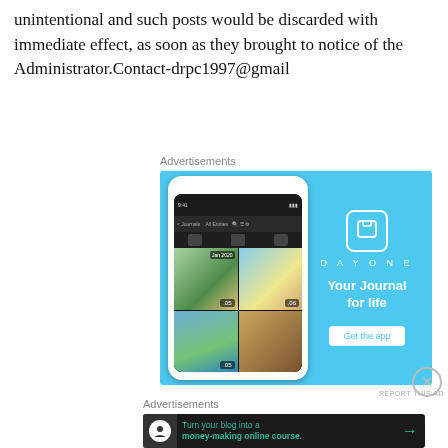unintentional and such posts would be discarded with immediate effect, as soon as they brought to notice of the Administrator.Contact-drpc1997@gmail
Advertisements
[Figure (screenshot): DayOne app advertisement. Blue background with a smartphone showing a photo journal app on the left, and DayOne branding with tagline 'Your Journal for life' and a 'Get the app' button on the right.]
REPORT THIS AD
Advertisements
[Figure (screenshot): Dark banner advertisement: 'Turn your blog into a money-making online course.' with an arrow button.]